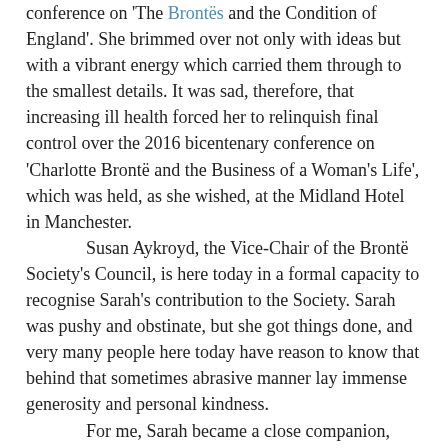conference on 'The Brontës and the Condition of England'. She brimmed over not only with ideas but with a vibrant energy which carried them through to the smallest details. It was sad, therefore, that increasing ill health forced her to relinquish final control over the 2016 bicentenary conference on 'Charlotte Brontë and the Business of a Woman's Life', which was held, as she wished, at the Midland Hotel in Manchester.

Susan Aykroyd, the Vice-Chair of the Brontë Society's Council, is here today in a formal capacity to recognise Sarah's contribution to the Society. Sarah was pushy and obstinate, but she got things done, and very many people here today have reason to know that behind that sometimes abrasive manner lay immense generosity and personal kindness.

For me, Sarah became a close companion, even though mostly by way of telephone and email.  Very few days went by without our consulting about plans, problems and discoveries. She was almost the only person with whom I exchanged work in progress. She was a good writer, unfailingly lucid and sensible. I am only now beginning to realise how much I relied on her always